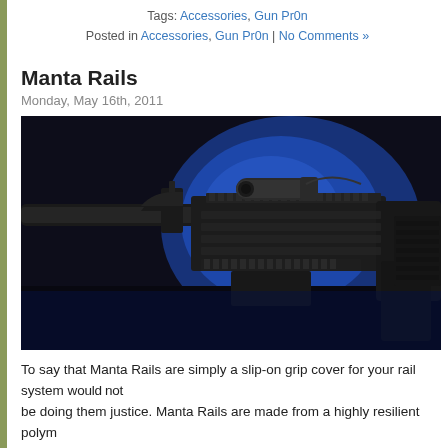Tags: Accessories, Gun Pr0n
Posted in Accessories, Gun Pr0n | No Comments »
Manta Rails
Monday, May 16th, 2011
[Figure (photo): Close-up photograph of an AR-15 style rifle with quad rail handguard and attached flashlight/scope, against a dark background with blue lighting glow]
To say that Manta Rails are simply a slip-on grip cover for your rail system would not be doing them justice. Manta Rails are made from a highly resilient polym...